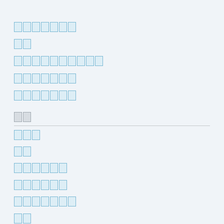[redacted 7-char block]
[redacted 2-char block]
[redacted 10-char block]
[redacted 7-char block]
[redacted 7-char block]
[redacted 2-char block gray]
[redacted 3-char block]
[redacted 2-char block]
[redacted 6-char block]
[redacted 6-char block]
[redacted 7-char block]
[redacted 2-char block]
[redacted 5-char block]